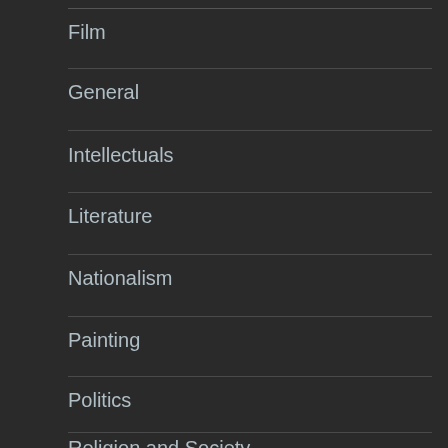Film
General
Intellectuals
Literature
Nationalism
Painting
Politics
Religion and Society